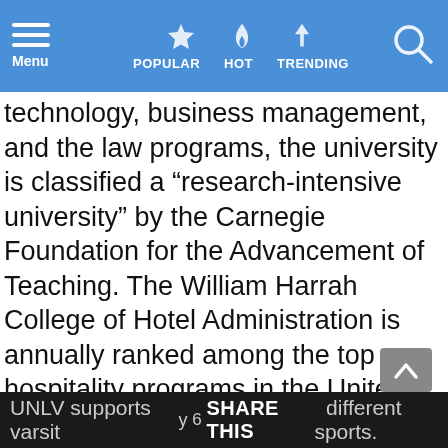Menu  POPULAR  HOT  TRENDING
technology, business management, and the law programs, the university is classified a “research-intensive university” by the Carnegie Foundation for the Advancement of Teaching. The William Harrah College of Hotel Administration is annually ranked among the top hospitality programs in the United States due to the university’s proximity to the Las Vegas Strip. Its famed Thomas & Mack Center hosted the 2007 NBA All-Star Game, concerts, as well as lectures by Bill Clinton and Mikhail Gorbachev as part of various UNLV-affiliated lecture series.
UNLV supports varsity  6 SHARE THIS  different sports.